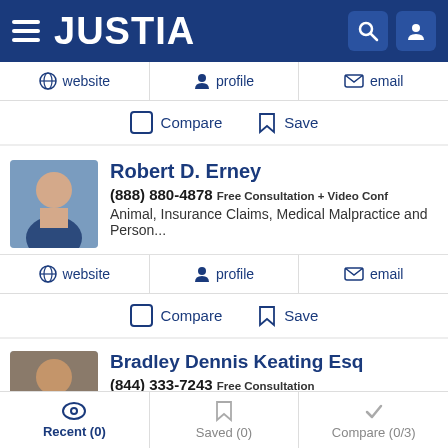JUSTIA
website | profile | email
Compare  Save
Robert D. Erney
(888) 880-4878  Free Consultation + Video Conf
Animal, Insurance Claims, Medical Malpractice and Person...
website | profile | email
Compare  Save
Bradley Dennis Keating Esq
(844) 333-7243  Free Consultation
Recent (0)  Saved (0)  Compare (0/3)